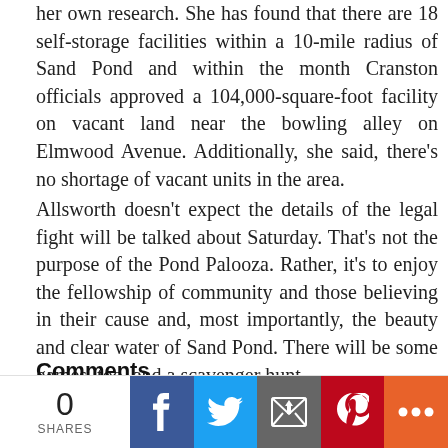her own research. She has found that there are 18 self-storage facilities within a 10-mile radius of Sand Pond and within the month Cranston officials approved a 104,000-square-foot facility on vacant land near the bowling alley on Elmwood Avenue. Additionally, she said, there's no shortage of vacant units in the area.
Allsworth doesn't expect the details of the legal fight will be talked about Saturday. That's not the purpose of the Pond Palooza. Rather, it's to enjoy the fellowship of community and those believing in their cause and, most importantly, the beauty and clear water of Sand Pond. There will be some games, too, and a scavenger hunt.
The Pond Palooza starts at noon and runs to 4 p.m.
Comments
1 COMMENT ON THIS ITEM   PLEASE LOG IN TO COMMENT BY CLICKING HERE